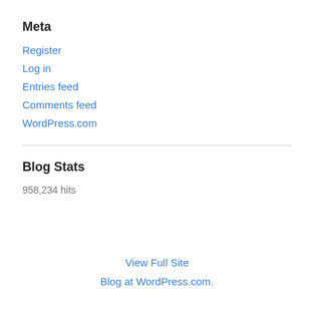Meta
Register
Log in
Entries feed
Comments feed
WordPress.com
Blog Stats
958,234 hits
View Full Site
Blog at WordPress.com.